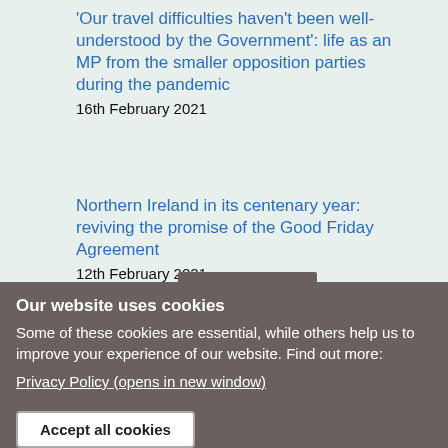'Our travel difficulties haven't been well-understood by the Government': life as an MP from the smaller opposition parties during the pandemic
16th February 2021
Northern Ireland in its centenary year: reviving the promise of the Good Friday Agreement
12th February 2021
Northern Ireland in its centenary year: a changing lands…
Cookie settings
Our website uses cookies
Some of these cookies are essential, while others help us to improve your experience of our website. Find out more:
Privacy Policy (opens in new window)
Accept all cookies